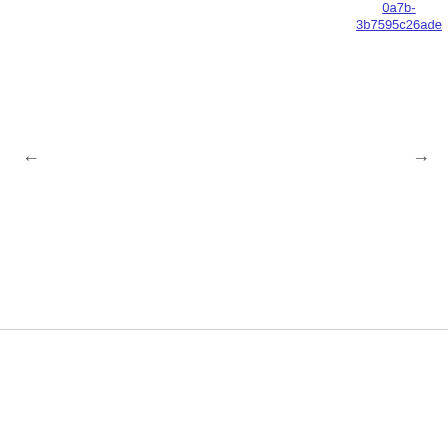0a7b-3b7595c26ade
[Figure (other): Image carousel viewer area with left and right navigation arrows. Left arrow (←) on the left side, right arrow (→) on the right side. Large white/empty image display area.]
100% Biodegradable